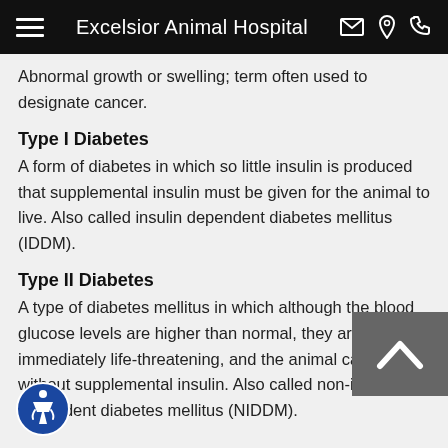Excelsior Animal Hospital
Abnormal growth or swelling; term often used to designate cancer.
Type I Diabetes
A form of diabetes in which so little insulin is produced that supplemental insulin must be given for the animal to live. Also called insulin dependent diabetes mellitus (IDDM).
Type II Diabetes
A type of diabetes mellitus in which although the blood glucose levels are higher than normal, they are not immediately life-threatening, and the animal can survive without supplemental insulin. Also called non-insulin dependent diabetes mellitus (NIDDM).